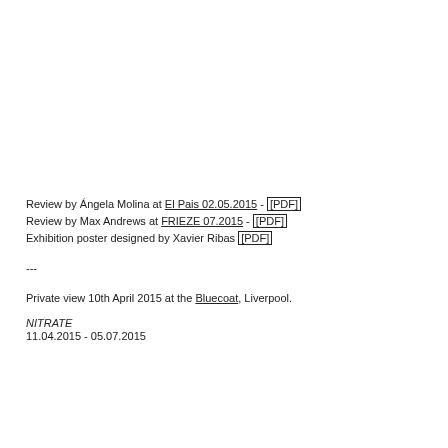Review by Ángela Molina at El Pais 02.05.2015 - [PDF]
Review by Max Andrews at FRIEZE 07.2015 - [PDF]
Exhibition poster designed by Xavier Ribas [PDF]
---
Private view 10th April 2015 at the Bluecoat, Liverpool.
NITRATE
11.04.2015 - 05.07.2015